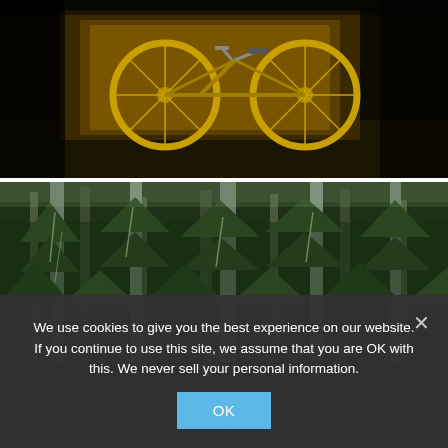[Figure (photo): Dark nighttime photo of a bicycle against a golden/yellow lit background, dark earthy surroundings]
[Figure (photo): Daytime photo of a dense forest of tall evergreen trees with moss, viewed from below looking up]
We use cookies to give you the best experience on our website. If you continue to use this site, we assume that you are OK with this. We never sell your personal information.